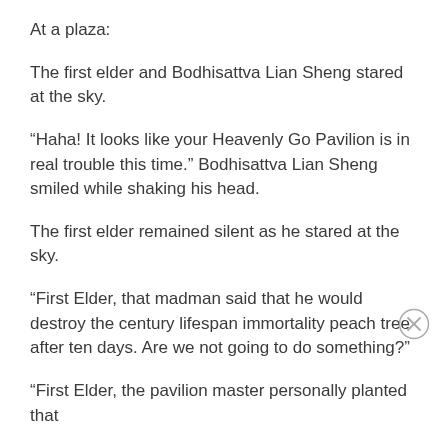At a plaza:
The first elder and Bodhisattva Lian Sheng stared at the sky.
“Haha! It looks like your Heavenly Go Pavilion is in real trouble this time.” Bodhisattva Lian Sheng smiled while shaking his head.
The first elder remained silent as he stared at the sky.
“First Elder, that madman said that he would destroy the century lifespan immortality peach tree after ten days. Are we not going to do something?”
“First Elder, the pavilion master personally planted that